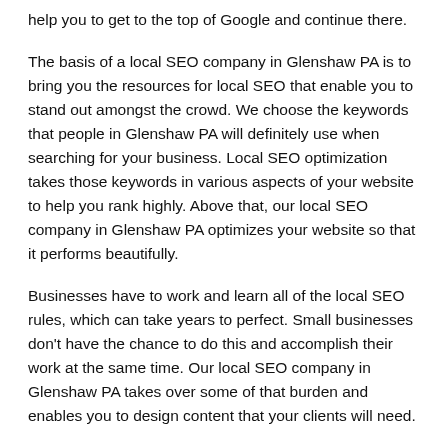help you to get to the top of Google and continue there.
The basis of a local SEO company in Glenshaw PA is to bring you the resources for local SEO that enable you to stand out amongst the crowd. We choose the keywords that people in Glenshaw PA will definitely use when searching for your business. Local SEO optimization takes those keywords in various aspects of your website to help you rank highly. Above that, our local SEO company in Glenshaw PA optimizes your website so that it performs beautifully.
Businesses have to work and learn all of the local SEO rules, which can take years to perfect. Small businesses don't have the chance to do this and accomplish their work at the same time. Our local SEO company in Glenshaw PA takes over some of that burden and enables you to design content that your clients will need.
Best Local SEO Company in Glenshaw PA
Our local SEO company in Glenshaw PA guides you to deal with how many new eyes will see your website every day, with little actual work from you. Instead, we focus on enhancing your website